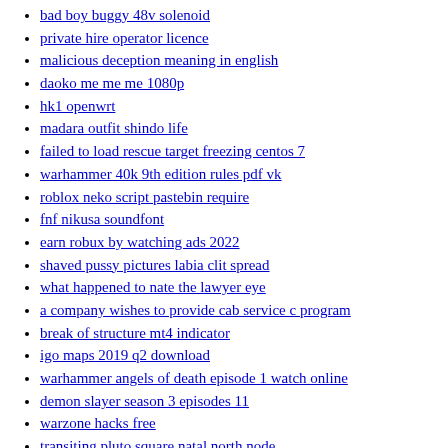bad boy buggy 48v solenoid
private hire operator licence
malicious deception meaning in english
daoko me me me 1080p
hk1 openwrt
madara outfit shindo life
failed to load rescue target freezing centos 7
warhammer 40k 9th edition rules pdf vk
roblox neko script pastebin require
fnf nikusa soundfont
earn robux by watching ads 2022
shaved pussy pictures labia clit spread
what happened to nate the lawyer eye
a company wishes to provide cab service c program
break of structure mt4 indicator
igo maps 2019 q2 download
warhammer angels of death episode 1 watch online
demon slayer season 3 episodes 11
warzone hacks free
transiting pluto square natal north node
fr legends mods pc
apply for council tax rebate 2022
church anniversary emcee script
fuck moms pussy video
amber alert mixtape video gore